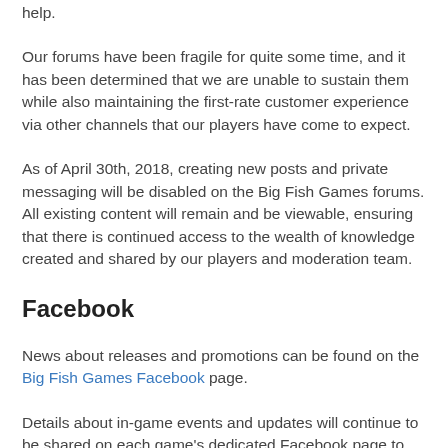help.
Our forums have been fragile for quite some time, and it has been determined that we are unable to sustain them while also maintaining the first-rate customer experience via other channels that our players have come to expect.
As of April 30th, 2018, creating new posts and private messaging will be disabled on the Big Fish Games forums. All existing content will remain and be viewable, ensuring that there is continued access to the wealth of knowledge created and shared by our players and moderation team.
Facebook
News about releases and promotions can be found on the Big Fish Games Facebook page.
Details about in-game events and updates will continue to be shared on each game's dedicated Facebook page to